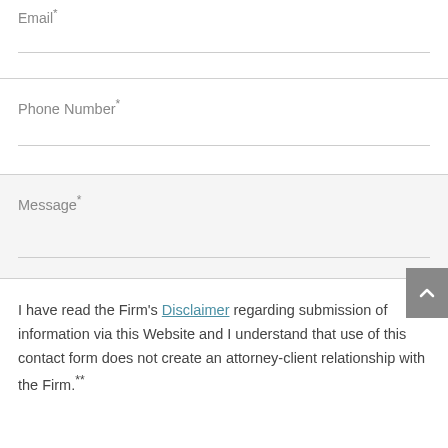Email*
Phone Number*
Message*
I have read the Firm's Disclaimer regarding submission of information via this Website and I understand that use of this contact form does not create an attorney-client relationship with the Firm.**